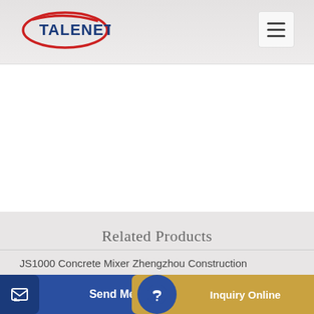[Figure (logo): TALENET company logo with red swoosh and blue text]
Related Products
JS1000 Concrete Mixer Zhengzhou Construction
filters for cement silos
Send Message
Inquiry Online